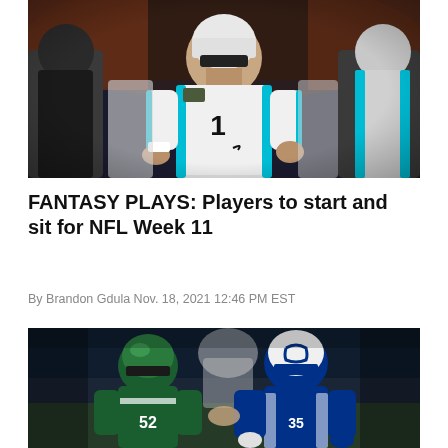[Figure (photo): NFL player wearing Carolina Panthers jersey number 1 in white uniform, pointing on the field during a night game, surrounded by teammates]
FANTASY PLAYS: Players to start and sit for NFL Week 11
By Brandon Gdula Nov. 18, 2021 12:46 PM EST
[Figure (photo): NFL game action photo showing a New York Jets defender in green uniform tackling an Indianapolis Colts player in blue uniform carrying the ball]